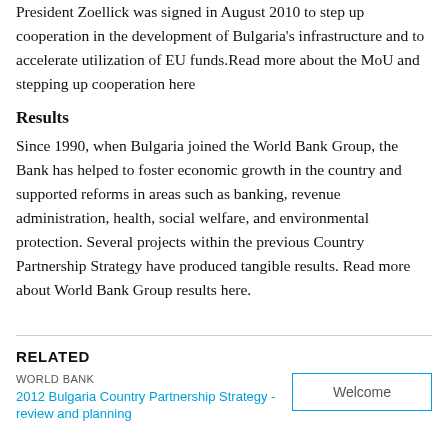President Zoellick was signed in August 2010 to step up cooperation in the development of Bulgaria's infrastructure and to accelerate utilization of EU funds.Read more about the MoU and stepping up cooperation here
Results
Since 1990, when Bulgaria joined the World Bank Group, the Bank has helped to foster economic growth in the country and supported reforms in areas such as banking, revenue administration, health, social welfare, and environmental protection. Several projects within the previous Country Partnership Strategy have produced tangible results. Read more about World Bank Group results here.
RELATED
WORLD BANK
2012 Bulgaria Country Partnership Strategy - review and planning
Welcome